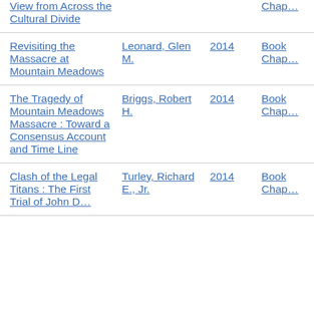| Title | Author | Year | Type |
| --- | --- | --- | --- |
| View from Across the Cultural Divide |  |  | Chap… |
| Revisiting the Massacre at Mountain Meadows | Leonard, Glen M. | 2014 | Book Chap… |
| The Tragedy of Mountain Meadows Massacre : Toward a Consensus Account and Time Line | Briggs, Robert H. | 2014 | Book Chap… |
| Clash of the Legal Titans : The First Trial of John D… | Turley, Richard E., Jr. | 2014 | Book Chap… |